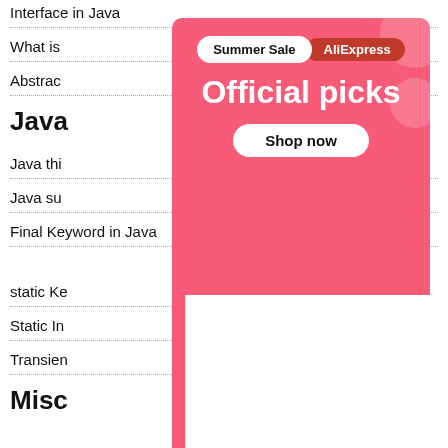Interface in Java
What is
Abstrac
Java
Java thi
Java su
Final Keyword in Java
static Ke
Static In
Transien
Misc
[Figure (infographic): AliExpress Summer Sale advertisement overlay showing 'Official picks' with a Shop now button and product images including a robot vacuum cleaner, a gaming device, and a game controller on a pink/red background.]